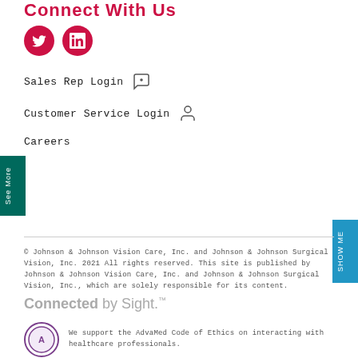Connect With Us
[Figure (logo): Twitter and LinkedIn social media icons (red circles with white logos)]
Sales Rep Login
Customer Service Login
Careers
[Figure (infographic): See More vertical tab on left side (teal background)]
[Figure (infographic): SHOW ME vertical tab on right side (blue background)]
© Johnson & Johnson Vision Care, Inc. and Johnson & Johnson Surgical Vision, Inc. 2021 All rights reserved. This site is published by Johnson & Johnson Vision Care, Inc. and Johnson & Johnson Surgical Vision, Inc., which are solely responsible for its content.
Connected by Sight.™
We support the AdvaMed Code of Ethics on interacting with healthcare professionals.